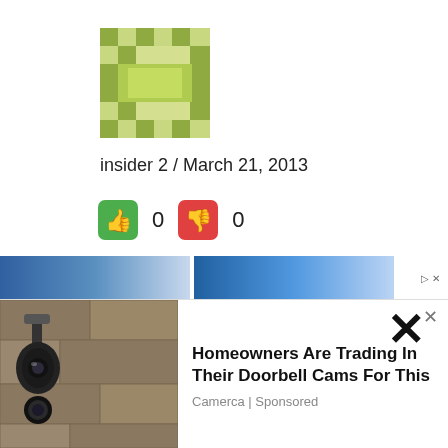[Figure (logo): Green and white patterned logo/avatar icon in a square with geometric/pixel art style]
insider 2 / March 21, 2013
[Figure (other): Thumbs up (green) and thumbs down (red) voting buttons each showing count 0]
Prof. Jeffory Abdulla is another “Prof” whose name appears on the internet only once under and only under the comments in this article in the Colombo telegraph. And the points he makes are the same that appear over and again in the comments written by a team of people who could w
[Figure (other): Advertisement overlay: photo of outdoor wall light with camera, text 'Homeowners Are Trading In Their Doorbell Cams For This' by Camerca | Sponsored]